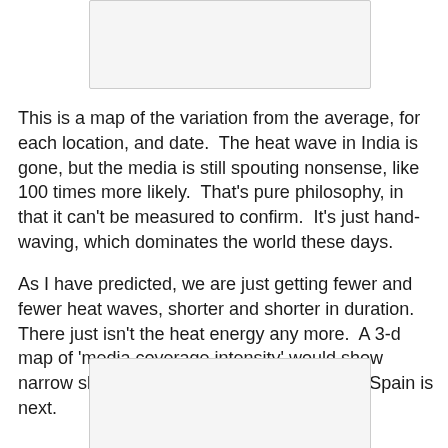[Figure (other): Partial image visible at top of page, white/light gray background]
This is a map of the variation from the average, for each location, and date.  The heat wave in India is gone, but the media is still spouting nonsense, like 100 times more likely.  That's pure philosophy, in that it can't be measured to confirm.  It's just hand-waving, which dominates the world these days.
As I have predicted, we are just getting fewer and fewer heat waves, shorter and shorter in duration.  There just isn't the heat energy any more.  A 3-d map of 'media coverage intensity' would show narrow skyscrapers on a few spots.  Maybe Spain is next.
[Figure (other): Partial image visible at bottom of page, white/light gray background]